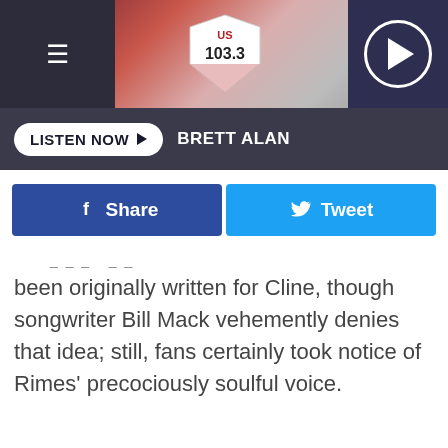[Figure (screenshot): US 103.3 radio station website header with logo, hamburger menu, and play button]
LISTEN NOW ▶  BRETT ALAN
[Figure (infographic): Share button (Facebook) and Tweet button (Twitter)]
been originally written for Cline, though songwriter Bill Mack vehemently denies that idea; still, fans certainly took notice of Rimes' precociously soulful voice.